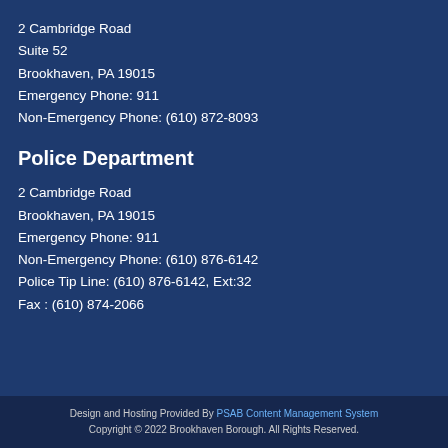2 Cambridge Road
Suite 52
Brookhaven, PA 19015
Emergency Phone: 911
Non-Emergency Phone: (610) 872-8093
Police Department
2 Cambridge Road
Brookhaven, PA 19015
Emergency Phone: 911
Non-Emergency Phone: (610) 876-6142
Police Tip Line: (610) 876-6142, Ext:32
Fax : (610) 874-2066
Design and Hosting Provided By PSAB Content Management System
Copyright © 2022 Brookhaven Borough. All Rights Reserved.